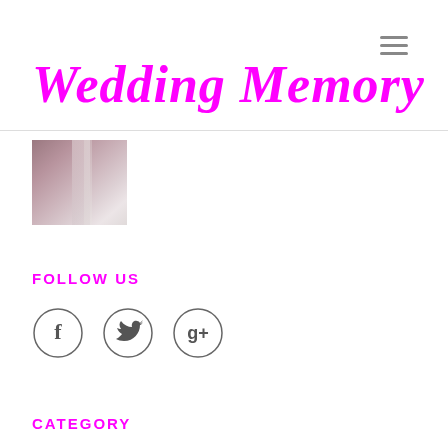≡
Wedding Memory
[Figure (photo): A blurred/soft-focus photo thumbnail with pinkish-gray tones, possibly a wedding veil or fabric]
FOLLOW US
[Figure (infographic): Three circular social media icons: Facebook (f), Twitter (bird), Google+ (g+)]
CATEGORY